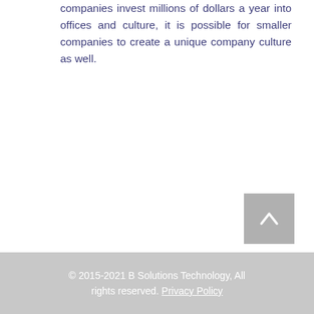companies invest millions of dollars a year into offices and culture, it is possible for smaller companies to create a unique company culture as well.
[Figure (other): Back to top button with upward chevron arrow on grey background]
© 2015-2021 B Solutions Technology, All rights reserved. Privacy Policy